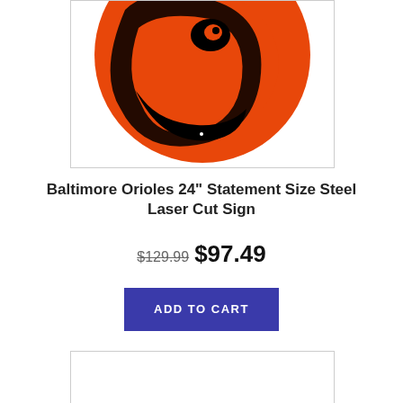[Figure (photo): Baltimore Orioles logo on orange circular steel sign — orange circle with black cartoon oriole bird design, laser cut, partially cropped at top]
Baltimore Orioles 24" Statement Size Steel Laser Cut Sign
$129.99  $97.49
ADD TO CART
[Figure (photo): Second product image box, partially visible at bottom of page, white/empty interior]